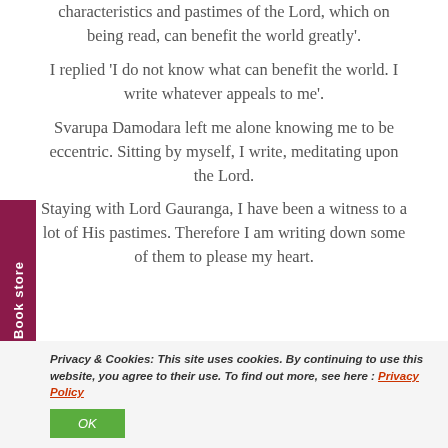characteristics and pastimes of the Lord, which on being read, can benefit the world greatly'. I replied 'I do not know what can benefit the world. I write whatever appeals to me'. Svarupa Damodara left me alone knowing me to be eccentric. Sitting by myself, I write, meditating upon the Lord. Staying with Lord Gauranga, I have been a witness to a lot of His pastimes. Therefore I am writing down some of them to please my heart
Privacy & Cookies: This site uses cookies. By continuing to use this website, you agree to their use. To find out more, see here : Privacy Policy
OK